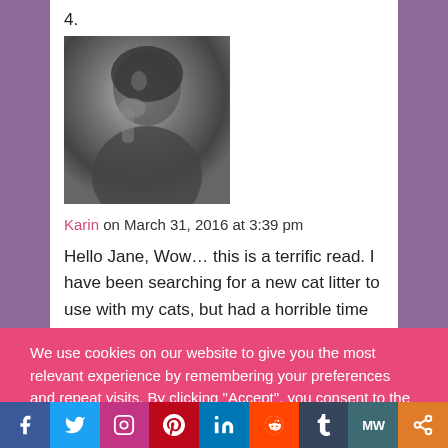4.
[Figure (photo): Black and white photo of a person (appears to be a woman with her hand near her face)]
Karin on March 31, 2016 at 3:39 pm
Hello Jane, Wow... this is a terrific read. I have been searching for a new cat litter to use with my cats, but had a horrible time with wood pellet litter. I would have never thought to try this type of litter. Also, i like the valid point that you made about making the
We use cookies on our website to give you the most relevant experience by remembering your preferences and repeat visits. By clicking “Accept”, you consent to the use of ALL the cookies.
Cookie settings    ACCEPT